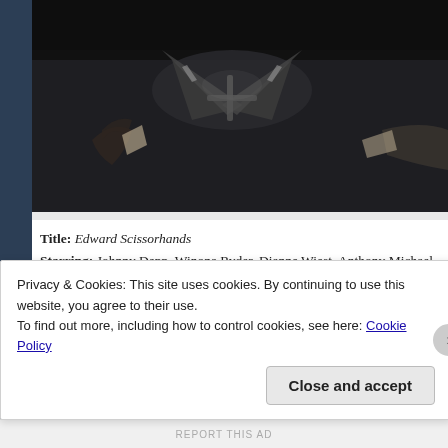[Figure (photo): Movie scene from Edward Scissorhands showing hands with scissor-like appendages in a dark scene]
Title: Edward Scissorhands
Starring: Johnny Depp, Winona Ryder, Dianne Wiest, Anthony Michael Hall, Alan Arkin, Caroline Aaron, Vincent Price
Released in: 1990
Directed by: Tim Burton
Written by: Caroline Thompson, Tim Burton
Based On: N/A
Light or Dark Fantasy?: Both
Fantastical Elements: Frankenstien-ish creature with scissors for hand
5 Second Synopsis: A kind inventor is almost finished piecing together
Privacy & Cookies: This site uses cookies. By continuing to use this website, you agree to their use.
To find out more, including how to control cookies, see here: Cookie Policy